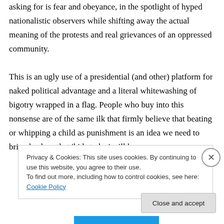asking for is fear and obeyance, in the spotlight of hyped nationalistic observers while shifting away the actual meaning of the protests and real grievances of an oppressed community. This is an ugly use of a presidential (and other) platform for naked political advantage and a literal whitewashing of bigotry wrapped in a flag. People who buy into this nonsense are of the same ilk that firmly believe that beating or whipping a child as punishment is an idea we need to bring back so that 'kids today' will have
Privacy & Cookies: This site uses cookies. By continuing to use this website, you agree to their use.
To find out more, including how to control cookies, see here: Cookie Policy